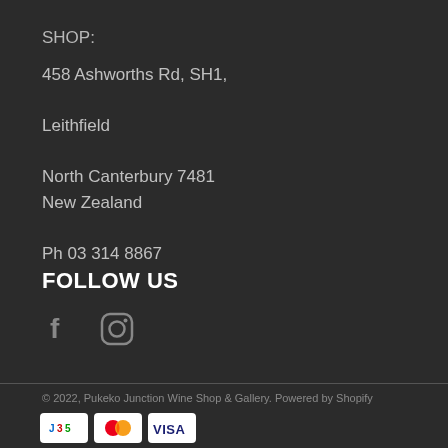SHOP:
458 Ashworths Rd, SH1,
Leithfield
North Canterbury 7481
New Zealand
Ph 03 314 8867
FOLLOW US
[Figure (illustration): Facebook and Instagram social media icons in grey]
© 2022, Pukeko Junction Wine Shop & Gallery. Powered by Shopify
[Figure (illustration): JCB, Mastercard, and Visa payment method icons]